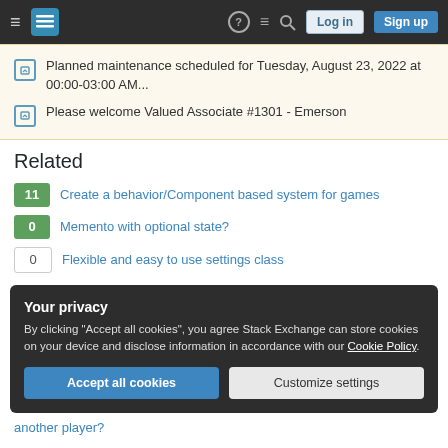Stack Exchange navigation bar with Log in and Sign up buttons
Planned maintenance scheduled for Tuesday, August 23, 2022 at 00:00-03:00 AM...
Please welcome Valued Associate #1301 - Emerson
Related
11 Create a behavior/Component based system for games
0 Memento with optional state?
0 Flexible and easy to use settings class
Your privacy
By clicking "Accept all cookies", you agree Stack Exchange can store cookies on your device and disclose information in accordance with our Cookie Policy.
another player?